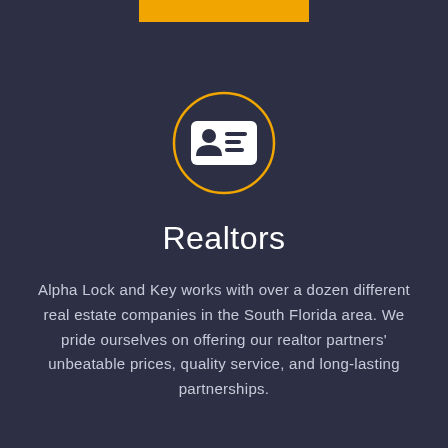[Figure (illustration): Gold circle outline with a white ID card / contact card icon inside, on a dark navy background]
Realtors
Alpha Lock and Key works with over a dozen different real estate companies in the South Florida area. We pride ourselves on offering our realtor partners' unbeatable prices, quality service, and long-lasting partnerships.